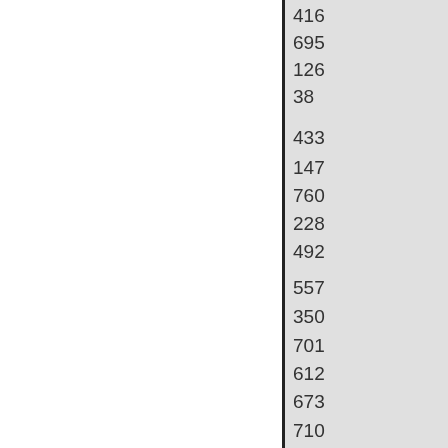| 416 |
| 695 |
| 126 |
| 38 |
| 433 |
| 147 |
| 760 |
| 228 |
| 492 |
| 557 |
| 350 |
| 701 |
| 612 |
| 673 |
| 710 |
| 294 |
| 484 |